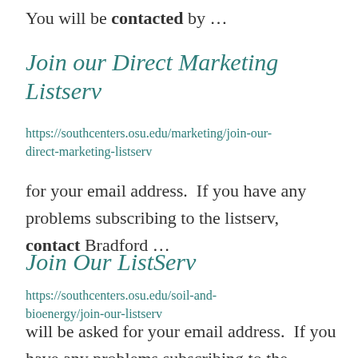You will be contacted by …
Join our Direct Marketing Listserv
https://southcenters.osu.edu/marketing/join-our-direct-marketing-listserv
for your email address.  If you have any problems subscribing to the listserv, contact Bradford …
Join Our ListServ
https://southcenters.osu.edu/soil-and-bioenergy/join-our-listserv
will be asked for your email address.  If you have any problems subscribing to the listserv, contact …